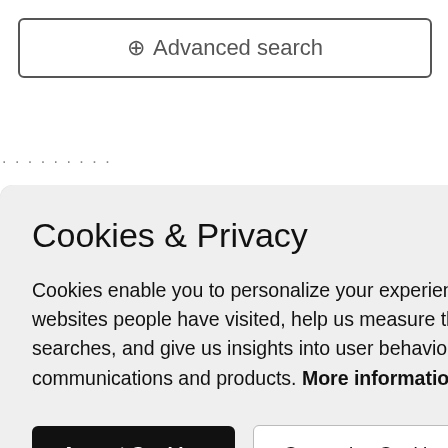[Figure (screenshot): Advanced search bar with magnifying glass icon at the top of the page]
Cookies & Privacy
Cookies enable you to personalize your experience on our site, tell us which parts of our websites people have visited, help us measure the effectiveness of ads and web searches, and give us insights into user behavior so we can improve our communications and products. More information
[Figure (screenshot): Two buttons: 'Accept Cookies' (black) and 'Customise Cookies' (white/outlined)]